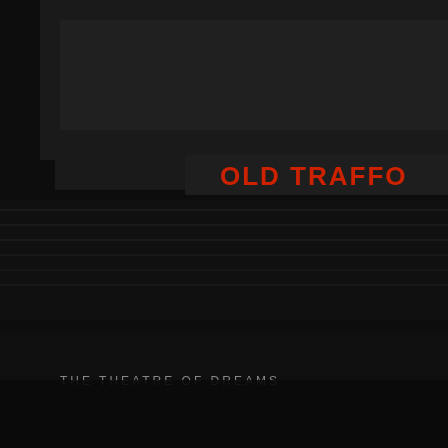[Figure (photo): Dark photograph of Old Trafford stadium interior, showing the stands and pitch with 'OLD TRAFFO' text visible on the stand and 'THE THEATRE OF DREAMS' text at the bottom of the image. The image is darkened/dimmed.]
United's squad, and star play... Mourinho as their shield. How... they do not like?
And what about United's hiera... had Solskjaer in mind as the...

Remember the cautionary ta... The Italian succeeded Andre... two months had won the FA C... the Champons League.
It was the greatest interim ma... audition in history, yet Abram... never seemed convinced but ... a corner.
He eventually gave Di Matteo... manager of modest previous ... attainments, a two-year deal.... was sacked in November and... since reverted to modest mo... And yet Solskjaer, if he can p... these early results are not sim... soft landing, has the capacity... dilemma.
The top four and the Champio... also coming at Arsenal in th...